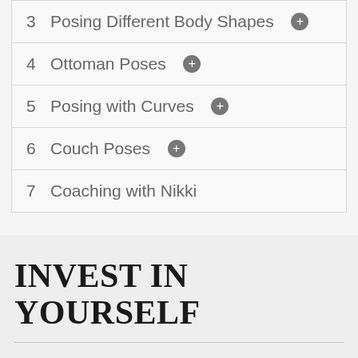3  Posing Different Body Shapes
4  Ottoman Poses
5  Posing with Curves
6  Couch Poses
7  Coaching with Nikki
INVEST IN YOURSELF
Choose a plan that’s right for you.